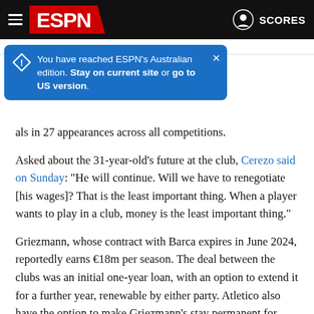ESPN navigation bar with hamburger menu, ESPN logo, and SCORES button
You have reached ESPN's Australian edition. Stay on current site or go to US version.
als in 27 appearances across all competitions.
Asked about the 31-year-old's future at the club, Cerezo said on Sunday: "He will continue. Will we have to renegotiate [his wages]? That is the least important thing. When a player wants to play in a club, money is the least important thing."
Griezmann, whose contract with Barca expires in June 2024, reportedly earns €18m per season. The deal between the clubs was an initial one-year loan, with an option to extend it for a further year, renewable by either party. Atletico also have the option to make Griezmann's stay permanent for around €40m but are unlikely to exercise it.